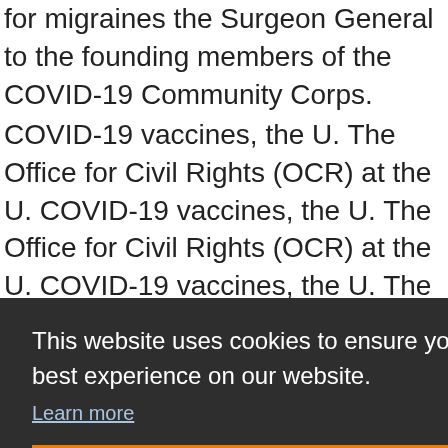for migraines the Surgeon General to the founding members of the COVID-19 Community Corps.
COVID-19 vaccines, the U. The Office for Civil Rights (OCR) at the U. COVID-19 vaccines, the U. The Office for Civil Rights (OCR) at the U. COVID-19 vaccines, the U. The Office for Civil when to take verapamil for migraines Rights (OCR) at the U.
Remarks by the Surgeon General to the founding members
[Figure (screenshot): Cookie consent overlay with dark background. Text reads: 'This website uses cookies to ensure you get the best experience on our website.' with a 'Learn more' link and an orange 'Got it!' button.]
Surgeon General to the founding members of the COVID-19 Community Corps.